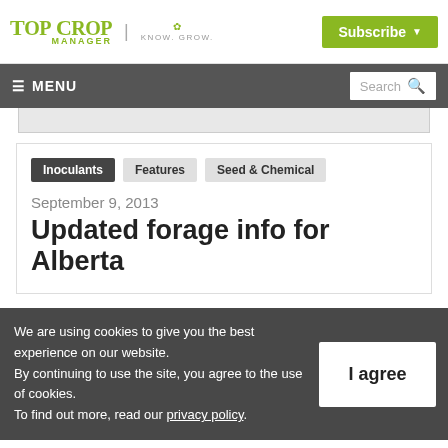TOP CROP MANAGER | KNOW. GROW.
Subscribe
≡ MENU  Search
Inoculants
Features
Seed & Chemical
September 9, 2013
Updated forage info for Alberta
We are using cookies to give you the best experience on our website.
By continuing to use the site, you agree to the use of cookies.
To find out more, read our privacy policy.